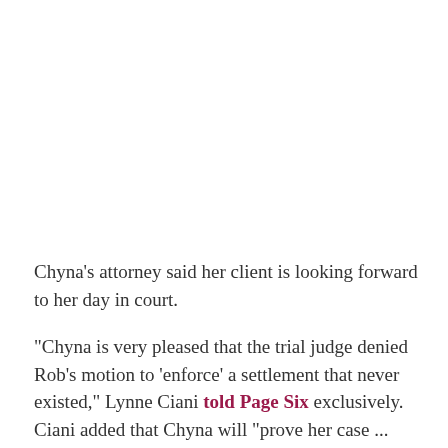Chyna's attorney said her client is looking forward to her day in court.
"Chyna is very pleased that the trial judge denied Rob's motion to 'enforce' a settlement that never existed," Lynne Ciani told Page Six exclusively. Ciani added that Chyna will "prove her case ... that Rob posted devastating revenge porn of her" when the trial begins